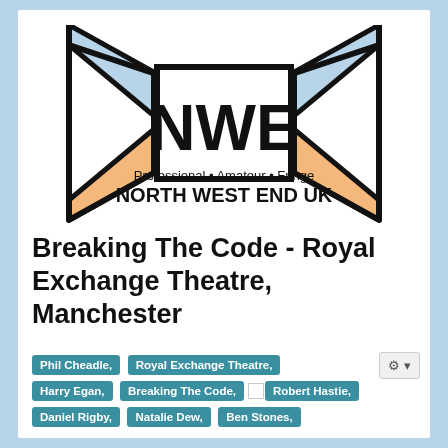[Figure (logo): NWE North West End UK logo — two stage spotlights (light blue top, orange/peach bottom panels) flanking a central white rectangle with bold black 'NWE' letters. Below: 'Professional • Amateur • Fringe' in medium weight, then 'NORTH WEST END UK' in large bold black capitals.]
Breaking The Code - Royal Exchange Theatre, Manchester
Phil Cheadle,
Royal Exchange Theatre,
Harry Egan,
Breaking The Code,
Robert Hastie,
Daniel Rigby,
Natalie Dew,
Ben Stones,